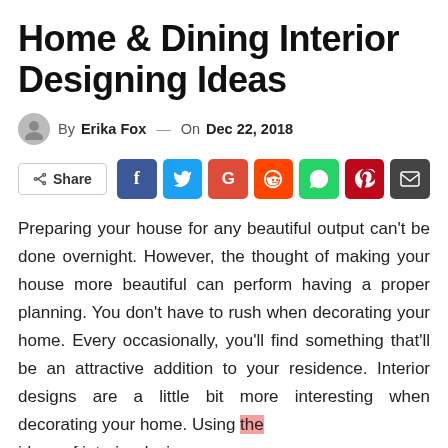Home & Dining Interior Designing Ideas
By Erika Fox — On Dec 22, 2018
[Figure (infographic): Social share bar with Share button and icons for Facebook, Twitter, Google+, Reddit, WhatsApp, Pinterest, and Email]
Preparing your house for any beautiful output can't be done overnight. However, the thought of making your house more beautiful can perform having a proper planning. You don't have to rush when decorating your home. Every occasionally, you'll find something that'll be an attractive addition to your residence. Interior designs are a little bit more interesting when decorating your home. Using the ideas of interior design...